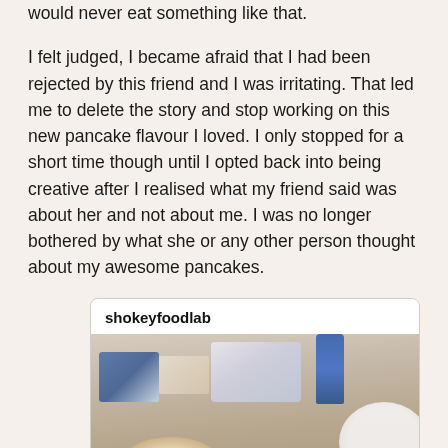would never eat something like that.
I felt judged, I became afraid that I had been rejected by this friend and I was irritating. That led me to delete the story and stop working on this new pancake flavour I loved. I only stopped for a short time though until I opted back into being creative after I realised what my friend said was about her and not about me. I was no longer bothered by what she or any other person thought about my awesome pancakes.
[Figure (photo): Social media post card from user 'shokeyfoodlab' showing a food photo of a table with bowls, boxes, and ingredients including what appears to be pancake ingredients and a white plate]